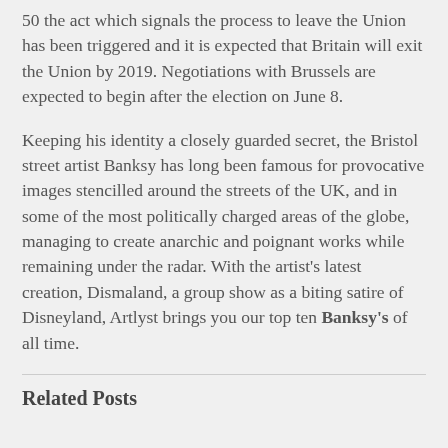50 the act which signals the process to leave the Union has been triggered and it is expected that Britain will exit the Union by 2019. Negotiations with Brussels are expected to begin after the election on June 8.
Keeping his identity a closely guarded secret, the Bristol street artist Banksy has long been famous for provocative images stencilled around the streets of the UK, and in some of the most politically charged areas of the globe, managing to create anarchic and poignant works while remaining under the radar. With the artist's latest creation, Dismaland, a group show as a biting satire of Disneyland, Artlyst brings you our top ten Banksy's of all time.
Related Posts